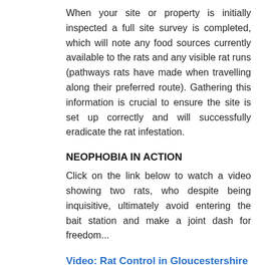When your site or property is initially inspected a full site survey is completed, which will note any food sources currently available to the rats and any visible rat runs (pathways rats have made when travelling along their preferred route). Gathering this information is crucial to ensure the site is set up correctly and will successfully eradicate the rat infestation.
NEOPHOBIA IN ACTION
Click on the link below to watch a video showing two rats, who despite being inquisitive, ultimately avoid entering the bait station and make a joint dash for freedom...
Video: Rat Control in Gloucestershire